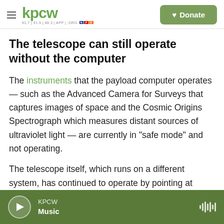KPCW — Donate
The telescope can still operate without the computer
The instruments that the payload computer operates — such as the Advanced Camera for Surveys that captures images of space and the Cosmic Origins Spectrograph which measures distant sources of ultraviolet light — are currently in "safe mode" and not operating.
The telescope itself, which runs on a different system, has continued to operate by pointing at different parts of the sky on a set schedule. "The
KPCW Music